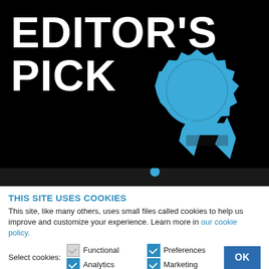[Figure (illustration): Black banner with large white bold text reading EDITOR'S PICK and a blue award ribbon/rosette graphic on the right side. Below the banner, partial large bold text of a website name is visible.]
THIS SITE USES COOKIES
This site, like many others, uses small files called cookies to help us improve and customize your experience. Learn more in our cookie policy.
Select cookies: Functional (unchecked), Preferences (checked), Analytics (checked), Marketing (checked)